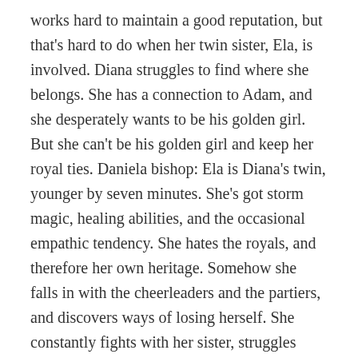works hard to maintain a good reputation, but that's hard to do when her twin sister, Ela, is involved. Diana struggles to find where she belongs. She has a connection to Adam, and she desperately wants to be his golden girl. But she can't be his golden girl and keep her royal ties. Daniela bishop: Ela is Diana's twin, younger by seven minutes. She's got storm magic, healing abilities, and the occasional empathic tendency. She hates the royals, and therefore her own heritage. Somehow she falls in with the cheerleaders and the partiers, and discovers ways of losing herself. She constantly fights with her sister, struggles with her own identity, and longs for a way to contain the power swirling inside her. Raquel and Damon Blackthorn: Raquel and